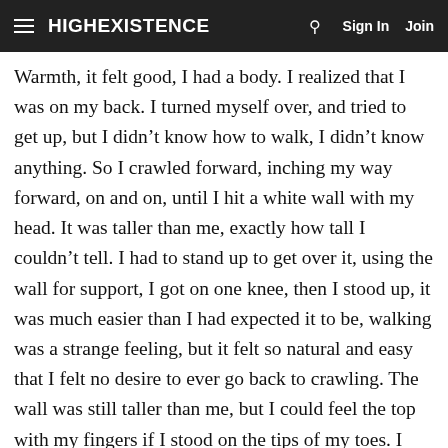HIGHEXISTENCE  Sign In  Join
Warmth, it felt good, I had a body. I realized that I was on my back. I turned myself over, and tried to get up, but I didn't know how to walk, I didn't know anything. So I crawled forward, inching my way forward, on and on, until I hit a white wall with my head. It was taller than me, exactly how tall I couldn't tell. I had to stand up to get over it, using the wall for support, I got on one knee, then I stood up, it was much easier than I had expected it to be, walking was a strange feeling, but it felt so natural and easy that I felt no desire to ever go back to crawling. The wall was still taller than me, but I could feel the top with my fingers if I stood on the tips of my toes. I wanted to get over this wall, away from the whiteness; I wanted something different than this limbo. I jumped, and raised my waste to the top of the wall; on the other side was a black void. I raised my